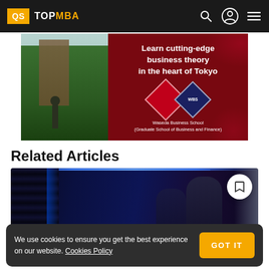QS TOPMBA
[Figure (photo): Advertisement banner for Waseda Business School (Graduate School of Business and Finance) - left side shows a building with statue and greenery, right side has dark red background with text 'Learn cutting-edge business theory in the heart of Tokyo' and the WBS logo]
Related Articles
[Figure (photo): Photo of two people walking through what appears to be a data center corridor with blue lighting, server racks visible on the left. A circular bookmark button overlay is visible in top right.]
We use cookies to ensure you get the best experience on our website. Cookies Policy
GOT IT